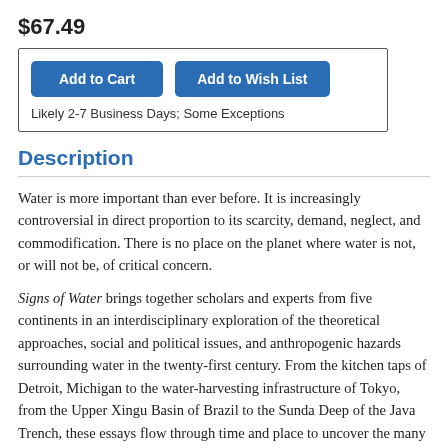$67.49
Add to Cart | Add to Wish List | Likely 2-7 Business Days; Some Exceptions
Description
Water is more important than ever before. It is increasingly controversial in direct proportion to its scarcity, demand, neglect, and commodification. There is no place on the planet where water is not, or will not be, of critical concern.
Signs of Water brings together scholars and experts from five continents in an interdisciplinary exploration of the theoretical approaches, social and political issues, and anthropogenic hazards surrounding water in the twenty-first century. From the kitchen taps of Detroit, Michigan to the water-harvesting infrastructure of Tokyo, from the Upper Xingu Basin of Brazil to the Sunda Deep of the Java Trench, these essays flow through time and place to uncover the many issues surrounding water today.